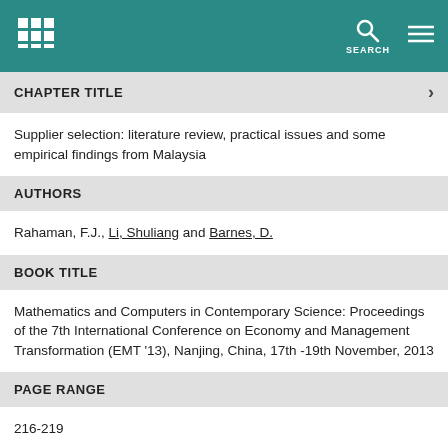SEARCH
CHAPTER TITLE
Supplier selection: literature review, practical issues and some empirical findings from Malaysia
AUTHORS
Rahaman, F.J., Li, Shuliang and Barnes, D.
BOOK TITLE
Mathematics and Computers in Contemporary Science: Proceedings of the 7th International Conference on Economy and Management Transformation (EMT '13), Nanjing, China, 17th -19th November, 2013
PAGE RANGE
216-219